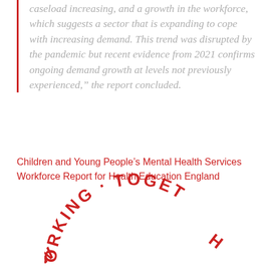caseload increasing, and a growth in the workforce, which suggests a sector that is expanding to cope with increasing demand. This trend was disrupted by the pandemic but recent evidence from 2021 confirms ongoing demand growth at levels not previously experienced," the report concluded.
Children and Young People's Mental Health Services Workforce Report for Health Education England
[Figure (logo): Circular arc text reading 'WORKING · TOGETHER' in red uppercase letters, partially visible at bottom of page]